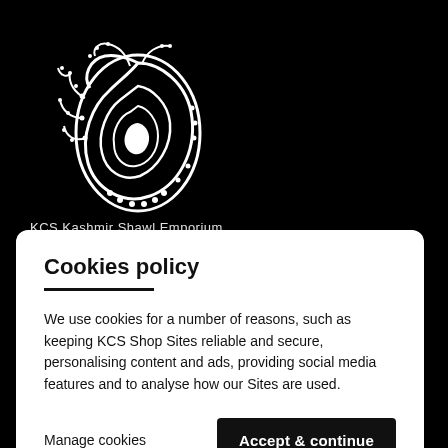[Figure (logo): White paisley decorative logo on black background]
KCS Kashmir Shawl Emporium
Cookies policy
We use cookies for a number of reasons, such as keeping KCS Shop Sites reliable and secure, personalising content and ads, providing social media features and to analyse how our Sites are used.
Manage cookies
Accept & continue
we have gained the reputation of being the